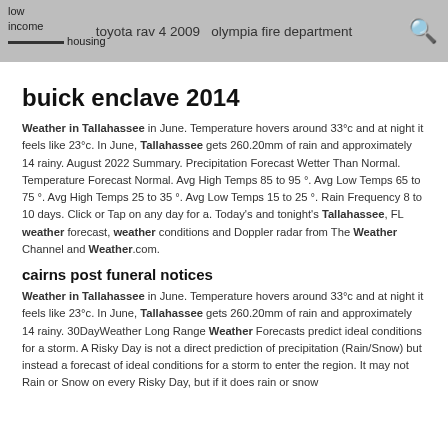low income housing | toyota rav 4 2009 olympia fire department
buick enclave 2014
Weather in Tallahassee in June. Temperature hovers around 33°c and at night it feels like 23°c. In June, Tallahassee gets 260.20mm of rain and approximately 14 rainy. August 2022 Summary. Precipitation Forecast Wetter Than Normal. Temperature Forecast Normal. Avg High Temps 85 to 95 °. Avg Low Temps 65 to 75 °. Avg High Temps 25 to 35 °. Avg Low Temps 15 to 25 °. Rain Frequency 8 to 10 days. Click or Tap on any day for a. Today's and tonight's Tallahassee, FL weather forecast, weather conditions and Doppler radar from The Weather Channel and Weather.com.
cairns post funeral notices
Weather in Tallahassee in June. Temperature hovers around 33°c and at night it feels like 23°c. In June, Tallahassee gets 260.20mm of rain and approximately 14 rainy. 30DayWeather Long Range Weather Forecasts predict ideal conditions for a storm. A Risky Day is not a direct prediction of precipitation (Rain/Snow) but instead a forecast of ideal conditions for a storm to enter the region. It may not Rain or Snow on every Risky Day, but if it does rain or snow